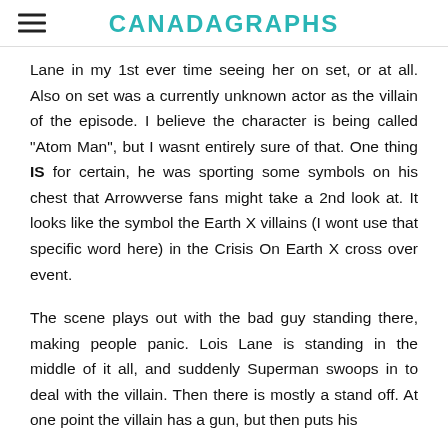CANADAGRAPHS
Lane in my 1st ever time seeing her on set, or at all. Also on set was a currently unknown actor as the villain of the episode. I believe the character is being called "Atom Man", but I wasnt entirely sure of that. One thing IS for certain, he was sporting some symbols on his chest that Arrowverse fans might take a 2nd look at. It looks like the symbol the Earth X villains (I wont use that specific word here) in the Crisis On Earth X cross over event.
The scene plays out with the bad guy standing there, making people panic. Lois Lane is standing in the middle of it all, and suddenly Superman swoops in to deal with the villain. Then there is mostly a stand off. At one point the villain has a gun, but then puts his